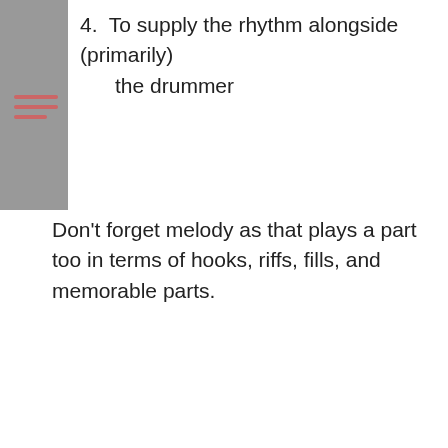4. To supply the rhythm alongside (primarily) the drummer
Don't forget melody as that plays a part too in terms of hooks, riffs, fills, and memorable parts.
The bass guitar is the bridge between the three main elements that make up music:
Rhythm
Melody
Harmony
bass lines and you'll hear these you start to get a handle on them